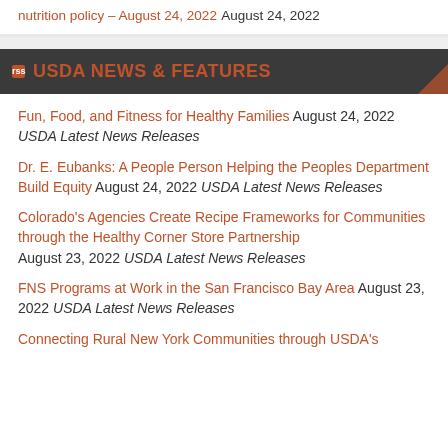nutrition policy – August 24, 2022 August 24, 2022
USDA NEWS & FEATURES
Fun, Food, and Fitness for Healthy Families August 24, 2022 USDA Latest News Releases
Dr. E. Eubanks: A People Person Helping the Peoples Department Build Equity August 24, 2022 USDA Latest News Releases
Colorado's Agencies Create Recipe Frameworks for Communities through the Healthy Corner Store Partnership August 23, 2022 USDA Latest News Releases
FNS Programs at Work in the San Francisco Bay Area August 23, 2022 USDA Latest News Releases
Connecting Rural New York Communities through USDA's